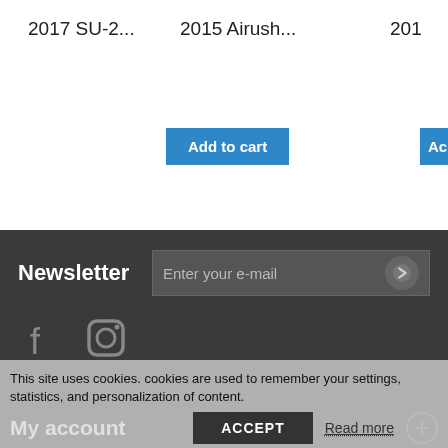2017 SU-2...
2015 Airush...
201
Add to cart
Ac
Newsletter
Enter your e-mail
[Figure (illustration): Facebook icon]
[Figure (illustration): Instagram icon]
Categories
Information
My account
This site uses cookies. cookies are used to remember your settings, statistics, and personalization of content.
ACCEPT
Read more